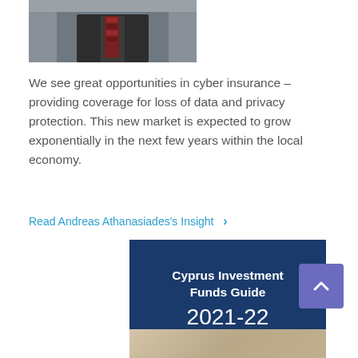[Figure (photo): Partial photo of a man in a dark suit with a striped tie, cropped to show only lower face and upper body]
We see great opportunities in cyber insurance – providing coverage for loss of data and privacy protection. This new market is expected to grow exponentially in the next few years within the local economy.
Read Andreas Athanasiades's Insight ›
[Figure (photo): Cyprus Investment Funds Guide 2021-22 book cover on dark navy blue background with a beige/stone colored architectural detail image at the bottom]